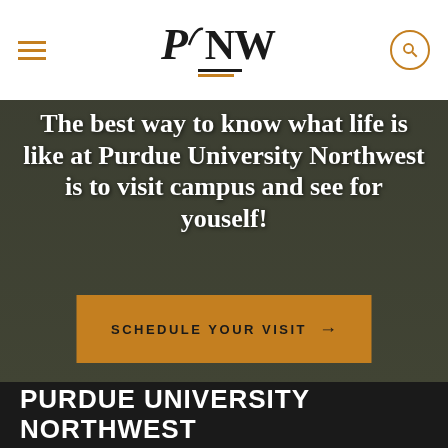[Figure (screenshot): Purdue University Northwest website header with hamburger menu, PNW logo with black and gold underlines, and search icon circle]
[Figure (photo): Dark overlay photo of students walking on campus at Purdue University Northwest]
The best way to know what life is like at Purdue University Northwest is to visit campus and see for youself!
SCHEDULE YOUR VISIT →
PURDUE UNIVERSITY NORTHWEST